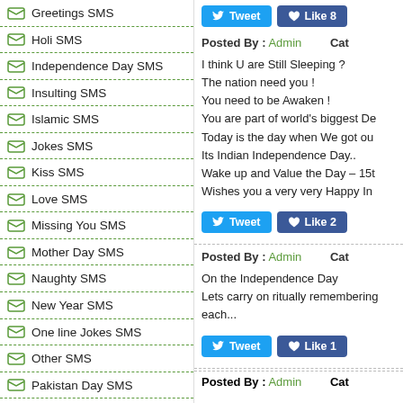Greetings SMS
Holi SMS
Independence Day SMS
Insulting SMS
Islamic SMS
Jokes SMS
Kiss SMS
Love SMS
Missing You SMS
Mother Day SMS
Naughty SMS
New Year SMS
One line Jokes SMS
Other SMS
Pakistan Day SMS
Poems SMS
Police SMS
Politics SMS
Tweet | Like 8
Posted By : Admin   Cat
I think U are Still Sleeping ?
The nation need you !
You need to be Awaken !
You are part of world's biggest De
Today is the day when We got ou
Its Indian Independence Day..
Wake up and Value the Day – 15t
Wishes you a very very Happy In
Tweet | Like 2
Posted By : Admin   Cat
On the Independence Day
Lets carry on ritually remembering each...
Tweet | Like 1
Posted By : Admin   Cat